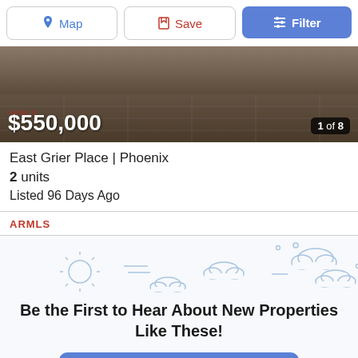Map | Save | Filter
[Figure (photo): Property exterior photo with price overlay $550,000 and counter 1 of 8]
East Grier Place | Phoenix
2 units
Listed 96 Days Ago
ARMLS
Be the First to Hear About New Properties Like These!
Notify Me